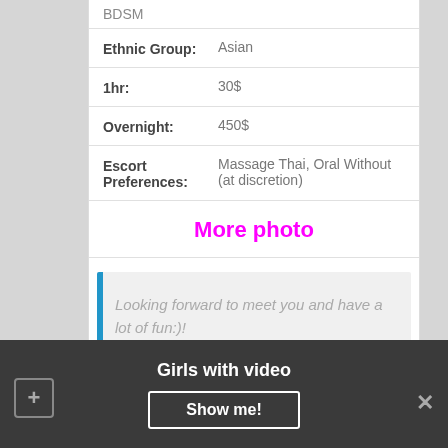| BDSM |  |
| Ethnic Group: | Asian |
| 1hr: | 30$ |
| Overnight: | 450$ |
| Escort Preferences: | Massage Thai, Oral Without (at discretion) |
More photo
Looking forward to meet you and have a lot of fun:)!
Benigna
Girls with video
Show me!